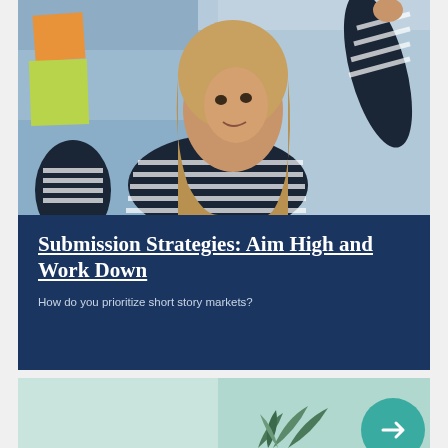[Figure (photo): Woman with blonde hair in a striped shirt reaching up toward colorful sticky notes (orange and green) on a glass surface, looking upward in an office/brainstorming setting]
Submission Strategies: Aim High and Work Down
How do you prioritize short story markets?
[Figure (photo): Partial view of a light teal/mint colored card bottom section with plant leaves and a teal circular button/element visible]